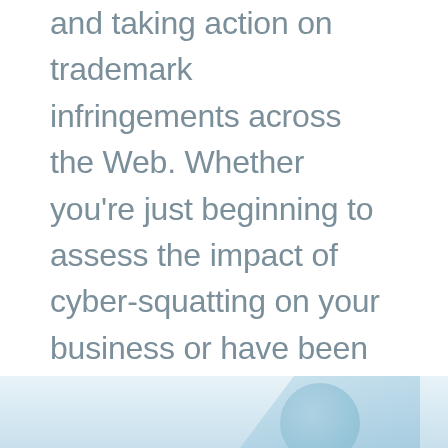and taking action on trademark infringements across the Web. Whether you're just beginning to assess the impact of cyber-squatting on your business or have been fighting this problem for years, Safenames' Mark Protect is the right solution for you.
[Figure (illustration): Light blue decorative background image at the bottom of the page with a circular shape element]